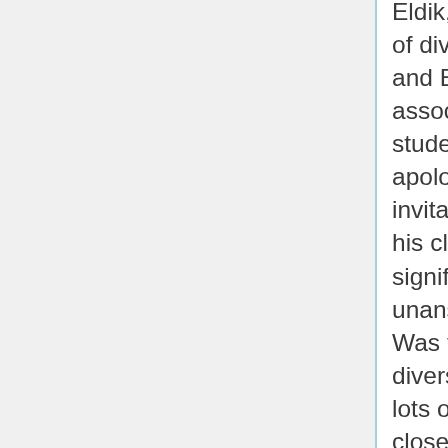Eldik, Yale Law School's director of diversity, equity, and inclusion, and Ellen Cosgrove, an associate dean, pressuring a student to issue a written apology for emailing out a party invitation that offended some of his classmates. ... The most significant question that remains unanswered at Yale Law School: Was this case unusual, or do the diversity bureaucrats at Yale treat lots of people this way behind closed doors? Cosgrove and Gerken, the law